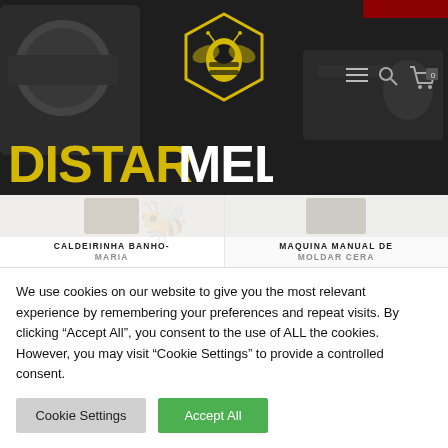[Figure (screenshot): Distarmel website header with dark background, bee logo in yellow hexagon, navigation hamburger menu, search and cart icons, DISTARMEL wordmark in yellow/white text, and product background imagery]
[Figure (photo): Product thumbnail area showing two products: CALDEIRINHA BANHO-MARIA on the left and MAQUINA MANUAL DE MOLDAR CERA on the right]
We use cookies on our website to give you the most relevant experience by remembering your preferences and repeat visits. By clicking “Accept All”, you consent to the use of ALL the cookies. However, you may visit "Cookie Settings" to provide a controlled consent.
Cookie Settings
Accept All